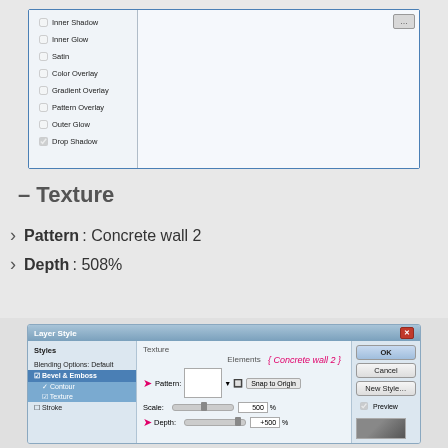[Figure (screenshot): Photoshop Layer Style dialog showing a list of effects (Inner Shadow, Inner Glow, Satin, Color Overlay, Gradient Overlay, Pattern Overlay, Outer Glow, Drop Shadow checked) with a large empty preview area on the right and a small button in the top-right corner.]
– Texture
Pattern: Concrete wall 2
Depth: 508%
[Figure (screenshot): Photoshop Layer Style dialog open on Texture sub-panel under Bevel & Emboss. Shows Styles list on left with Bevel & Emboss, Contour, Texture selected; center panel shows Texture Elements with Pattern preview, Snap to Origin button, annotation '{ Concrete wall 2 }', Scale slider at 500%, Depth slider at +500%; right panel has OK, Cancel, New Style, Preview buttons and a thumbnail.]